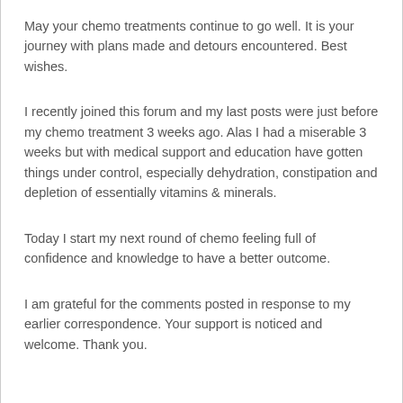May your chemo treatments continue to go well. It is your journey with plans made and detours encountered. Best wishes.
I recently joined this forum and my last posts were just before my chemo treatment 3 weeks ago. Alas I had a miserable 3 weeks but with medical support and education have gotten things under control, especially dehydration, constipation and depletion of essentially vitamins & minerals.
Today I start my next round of chemo feeling full of confidence and knowledge to have a better outcome.
I am grateful for the comments posted in response to my earlier correspondence. Your support is noticed and welcome. Thank you.